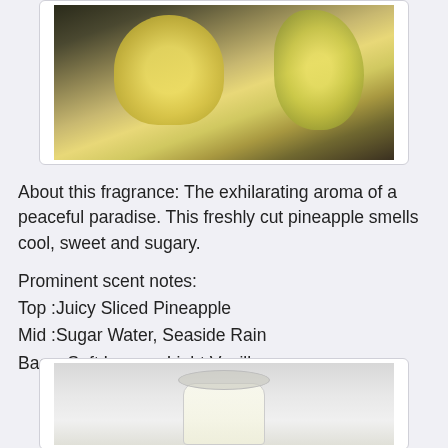[Figure (photo): Photo of a yellow candle jar with a yellow stuffed animal/bear with green checkered ribbon, placed next to it on a white surface]
About this fragrance: The exhilarating aroma of a peaceful paradise. This freshly cut pineapple smells cool, sweet and sugary.
Prominent scent notes:
Top :Juicy Sliced Pineapple
Mid :Sugar Water, Seaside Rain
Base :Soft Lemon, Light Vanilla
[Figure (photo): Photo of a clear glass candle jar with white/cream colored wax on a light gray surface]